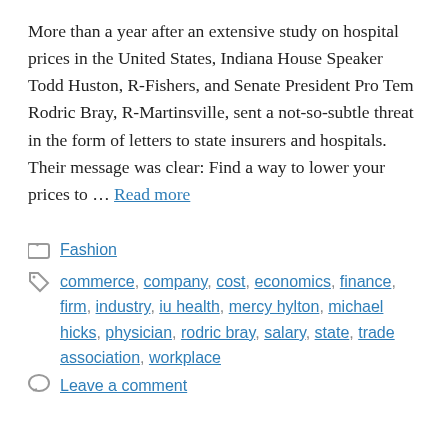More than a year after an extensive study on hospital prices in the United States, Indiana House Speaker Todd Huston, R-Fishers, and Senate President Pro Tem Rodric Bray, R-Martinsville, sent a not-so-subtle threat in the form of letters to state insurers and hospitals. Their message was clear: Find a way to lower your prices to … Read more
Fashion
commerce, company, cost, economics, finance, firm, industry, iu health, mercy hylton, michael hicks, physician, rodric bray, salary, state, trade association, workplace
Leave a comment